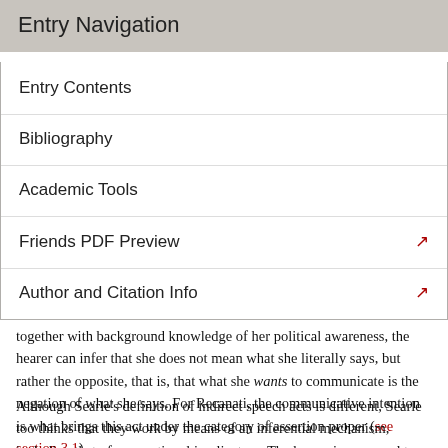Entry Navigation
Entry Contents
Bibliography
Academic Tools
Friends PDF Preview
Author and Citation Info
together with background knowledge of her political awareness, the hearer can infer that she does not mean what she literally says, but rather the opposite, that is, that what she wants to communicate is the negation of what she says. For Recanati, the communicative intention is what brings this act under the category of assertion proper (see section 3.1).
Although Searle's definition of indirect speech acts is different, Searle too thinks that they work by means of an inferential mechanism, including that of conventional implicature. The hearer is supposed to understand that the